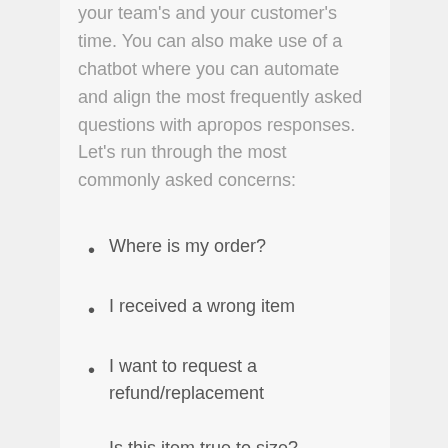your team's and your customer's time. You can also make use of a chatbot where you can automate and align the most frequently asked questions with apropos responses. Let's run through the most commonly asked concerns:
Where is my order?
I received a wrong item
I want to request a refund/replacement
Is this item true to size?
There are many more you can add to